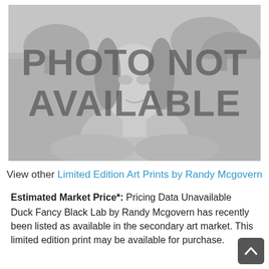[Figure (photo): Photo Not Available placeholder image showing a greyed-out Mona Lisa with bold text overlay reading PHOTO NOT AVAILABLE]
View other Limited Edition Art Prints by Randy Mcgovern
Estimated Market Price*: Pricing Data Unavailable
Duck Fancy Black Lab by Randy Mcgovern has recently been listed as available in the secondary art market. This limited edition print may be available for purchase.